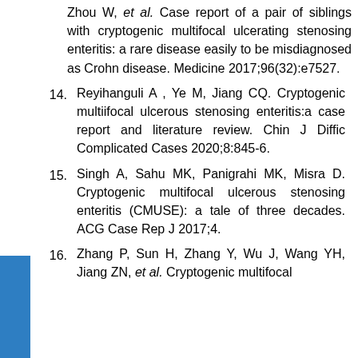Zhou W, et al. Case report of a pair of siblings with cryptogenic multifocal ulcerating stenosing enteritis: a rare disease easily to be misdiagnosed as Crohn disease. Medicine 2017;96(32):e7527.
14. Reyihanguli A , Ye M, Jiang CQ. Cryptogenic multiifocal ulcerous stenosing enteritis:a case report and literature review. Chin J Diffic Complicated Cases 2020;8:845-6.
15. Singh A, Sahu MK, Panigrahi MK, Misra D. Cryptogenic multifocal ulcerous stenosing enteritis (CMUSE): a tale of three decades. ACG Case Rep J 2017;4.
16. Zhang P, Sun H, Zhang Y, Wu J, Wang YH, Jiang ZN, et al. Cryptogenic multifocal